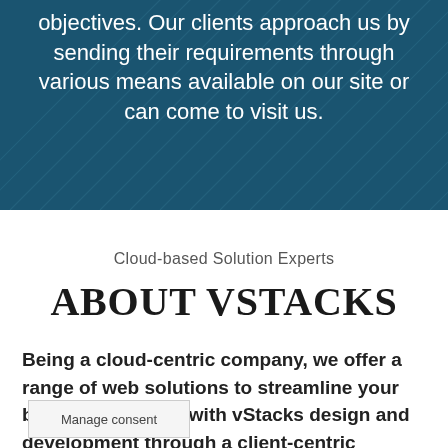objectives. Our clients approach us by sending their requirements through various means available on our site or can come to visit us.
Cloud-based Solution Experts
ABOUT VSTACKS
Being a cloud-centric company, we offer a range of web solutions to streamline your business. Expand with vStacks design and development through a client-centric approach, and